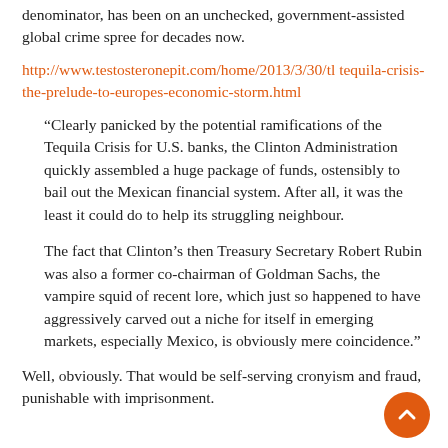denominator, has been on an unchecked, government-assisted global crime spree for decades now.
http://www.testosteronepit.com/home/2013/3/30/tl tequila-crisis-the-prelude-to-europes-economic-storm.html
“Clearly panicked by the potential ramifications of the Tequila Crisis for U.S. banks, the Clinton Administration quickly assembled a huge package of funds, ostensibly to bail out the Mexican financial system. After all, it was the least it could do to help its struggling neighbour.
The fact that Clinton’s then Treasury Secretary Robert Rubin was also a former co-chairman of Goldman Sachs, the vampire squid of recent lore, which just so happened to have aggressively carved out a niche for itself in emerging markets, especially Mexico, is obviously mere coincidence.”
Well, obviously. That would be self-serving cronyism and fraud, punishable with imprisonment.